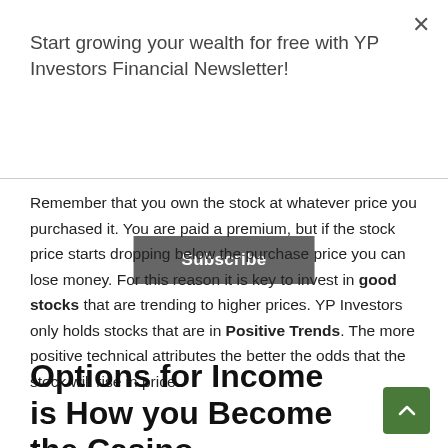Start growing your wealth for free with YP Investors Financial Newsletter!
Subscribe
Remember that you own the stock at whatever price you purchased it. You are paid a premium, but if the stock price starts dropping below the purchase price you can lose money. For this reason it is key to invest in good stocks that are trending to higher prices. YP Investors only holds stocks that are in Positive Trends. The more positive technical attributes the better the odds that the stock will rise in price.
Options for Income is How you Become the Casino